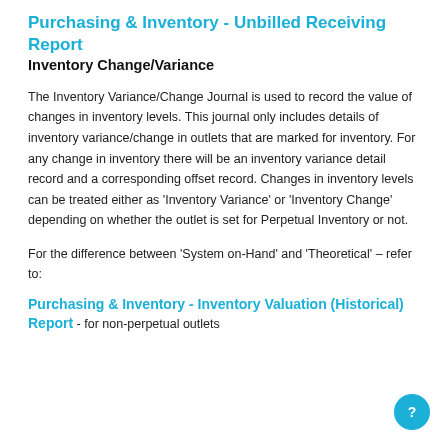Purchasing & Inventory - Unbilled Receiving Report
Inventory Change/Variance
The Inventory Variance/Change Journal is used to record the value of changes in inventory levels. This journal only includes details of inventory variance/change in outlets that are marked for inventory. For any change in inventory there will be an inventory variance detail record and a corresponding offset record. Changes in inventory levels can be treated either as 'Inventory Variance' or 'Inventory Change' depending on whether the outlet is set for Perpetual Inventory or not.
For the difference between 'System on-Hand' and 'Theoretical' – refer to:
Purchasing & Inventory - Inventory Valuation (Historical) Report - for non-perpetual outlets